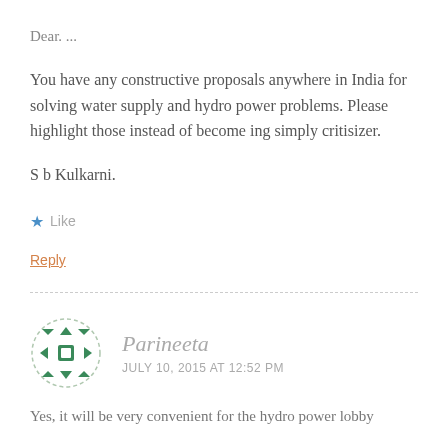Dear. ...
You have any constructive proposals anywhere in India for solving water supply and hydro power problems. Please highlight those instead of become ing simply critisizer.
S b Kulkarni.
★ Like
Reply
[Figure (illustration): Circular avatar icon with green geometric pattern (leaves/arrows) on white background with dashed border]
Parineeta
JULY 10, 2015 AT 12:52 PM
Yes, it will be very convenient for the hydro power lobby